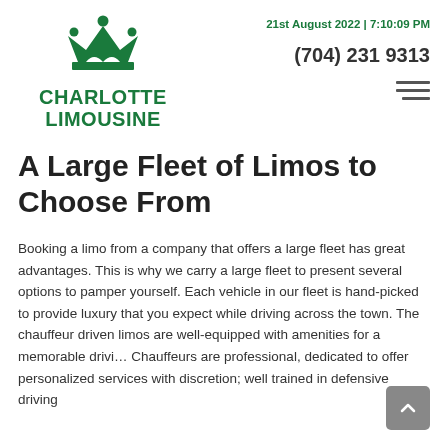[Figure (logo): Charlotte Limousine crown logo in green with company name text]
21st August 2022 | 7:10:09 PM
(704) 231 9313
A Large Fleet of Limos to Choose From
Booking a limo from a company that offers a large fleet has great advantages. This is why we carry a large fleet to present several options to pamper yourself. Each vehicle in our fleet is hand-picked to provide luxury that you expect while driving across the town. The chauffeur driven limos are well-equipped with amenities for a memorable drivi… Chauffeurs are professional, dedicated to offer personalized services with discretion; well trained in defensive driving